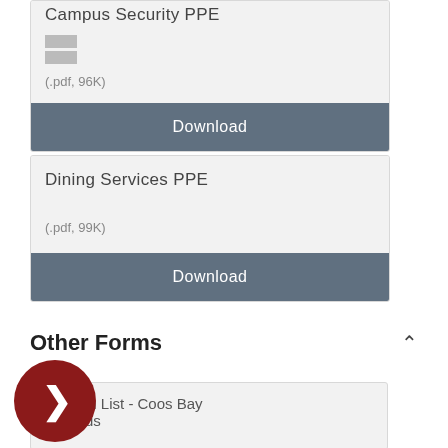Campus Security PPE
(.pdf, 96K)
Download
Dining Services PPE
(.pdf, 99K)
Download
Other Forms
location List - Coos Bay Campus